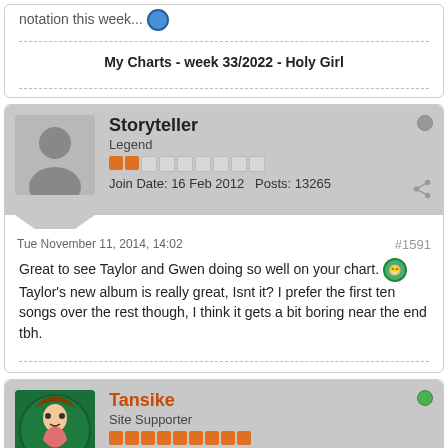notation this week...
My Charts - week 33/2022 - Holy Girl
Storyteller
Legend
Join Date: 16 Feb 2012  Posts: 13265
Tue November 11, 2014, 14:02
#1591
Great to see Taylor and Gwen doing so well on your chart. Taylor's new album is really great, Isnt it? I prefer the first ten songs over the rest though, I think it gets a bit boring near the end tbh.
Tansike
Site Supporter
Join Date: 28 Jan 2012  Posts: 62937